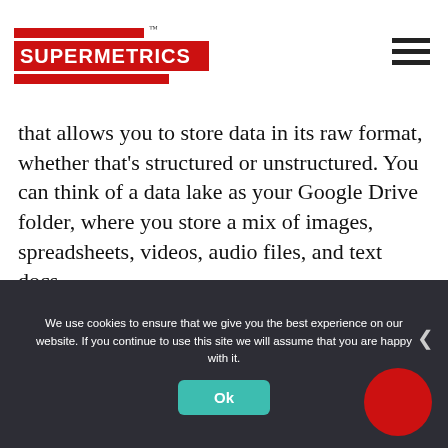[Figure (logo): Supermetrics logo with red bars and white text on red background]
that allows you to store data in its raw format, whether that's structured or unstructured. You can think of a data lake as your Google Drive folder, where you store a mix of images, spreadsheets, videos, audio files, and text docs.
Number of data sources: Many
We use cookies to ensure that we give you the best experience on our website. If you continue to use this site we will assume that you are happy with it.